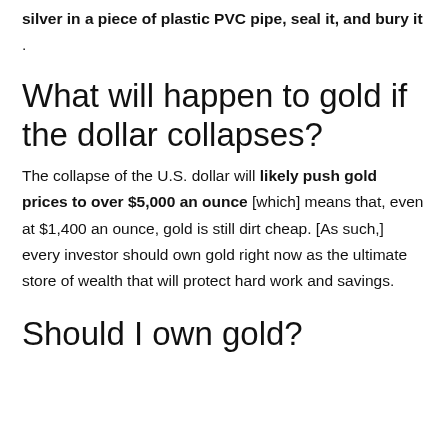silver in a piece of plastic PVC pipe, seal it, and bury it .
What will happen to gold if the dollar collapses?
The collapse of the U.S. dollar will likely push gold prices to over $5,000 an ounce [which] means that, even at $1,400 an ounce, gold is still dirt cheap. [As such,] every investor should own gold right now as the ultimate store of wealth that will protect hard work and savings.
Should I own gold?